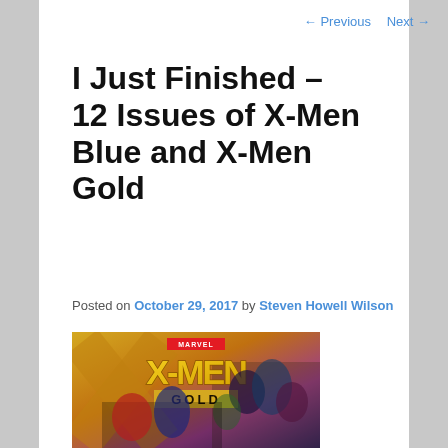← Previous   Next →
I Just Finished – 12 Issues of X-Men Blue and X-Men Gold
Posted on October 29, 2017 by Steven Howell Wilson
[Figure (illustration): X-Men Gold comic book cover showing Marvel logo at top, large stylized X-MEN text with GOLD banner, and superhero characters including Colossus, Nightcrawler, Storm and others in action poses against a golden/purple background with X shape]